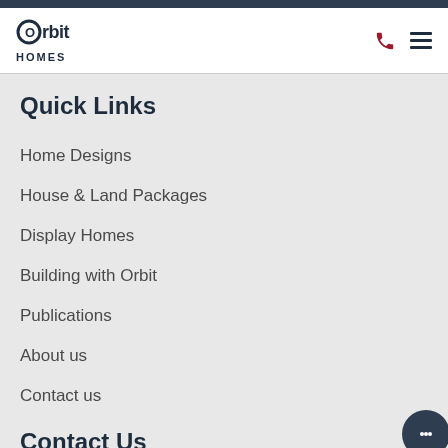Orbit Homes
Quick Links
Home Designs
House & Land Packages
Display Homes
Building with Orbit
Publications
About us
Contact us
Contact Us